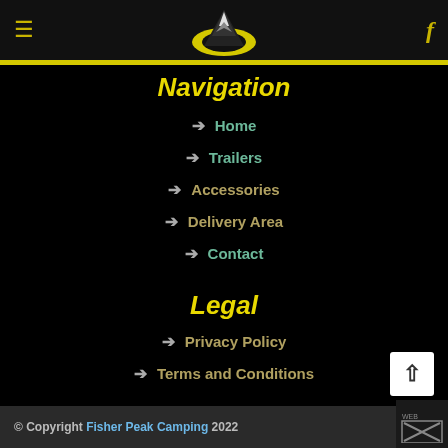≡  [Fisher Peak Camping Logo]  f
Navigation
→ Home
→ Trailers
→ Accessories
→ Delivery Area
→ Contact
Legal
→ Privacy Policy
→ Terms and Conditions
© Copyright Fisher Peak Camping 2022